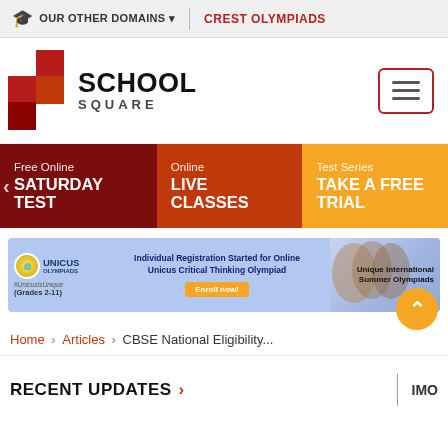OUR OTHER DOMAINS ▾  |  CREST OLYMPIADS
[Figure (logo): School Square logo with red cross/grid squares and text 'SCHOOL SQUARE']
[Figure (infographic): Navigation tabs: Free Online SATURDAY TEST | Online LIVE CLASSES | Test Series TAKE A FREE TRIAL]
[Figure (infographic): Ad banner for Unicus Olympiads: Individual Registration Started for Online Unicus Critical Thinking Olympiad, Enroll now!, Grades 2-11, Unique International Summer Olympiads]
Home › Articles › CBSE National Eligibility...
RECENT UPDATES  >
IMO